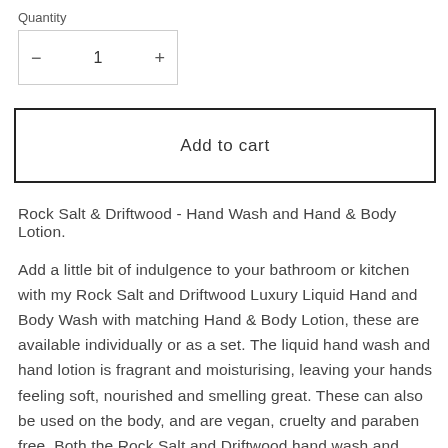Quantity
— 1 +
Add to cart
Rock Salt & Driftwood - Hand Wash and Hand & Body Lotion.
Add a little bit of indulgence to your bathroom or kitchen with my Rock Salt and Driftwood Luxury Liquid Hand and Body Wash with matching Hand & Body Lotion, these are available individually or as a set. The liquid hand wash and hand lotion is fragrant and moisturising, leaving your hands feeling soft, nourished and smelling great. These can also be used on the body, and are vegan, cruelty and paraben free. Both the Rock Salt and Driftwood hand wash and hand lotion are presented in a minimalistic slim bottle, with silver cuff and white pump.